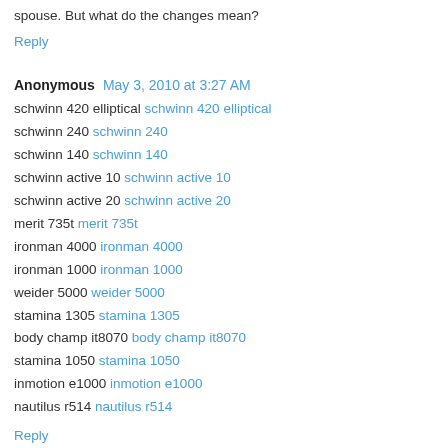spouse. But what do the changes mean?
Reply
Anonymous  May 3, 2010 at 3:27 AM
schwinn 420 elliptical schwinn 420 elliptical
schwinn 240 schwinn 240
schwinn 140 schwinn 140
schwinn active 10 schwinn active 10
schwinn active 20 schwinn active 20
merit 735t merit 735t
ironman 4000 ironman 4000
ironman 1000 ironman 1000
weider 5000 weider 5000
stamina 1305 stamina 1305
body champ it8070 body champ it8070
stamina 1050 stamina 1050
inmotion e1000 inmotion e1000
nautilus r514 nautilus r514
Reply